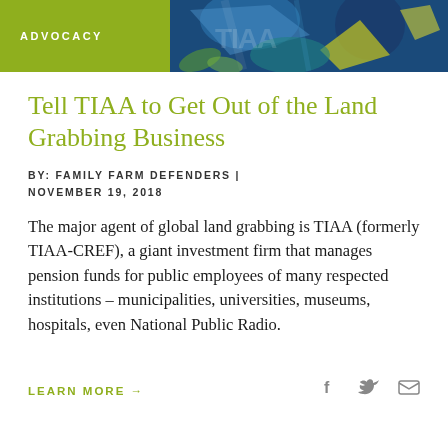ADVOCACY
Tell TIAA to Get Out of the Land Grabbing Business
BY: FAMILY FARM DEFENDERS | NOVEMBER 19, 2018
The major agent of global land grabbing is TIAA (formerly TIAA-CREF), a giant investment firm that manages pension funds for public employees of many respected institutions – municipalities, universities, museums, hospitals, even National Public Radio.
LEARN MORE →